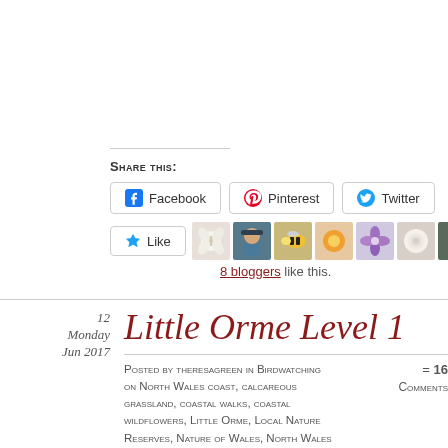Share this:
[Figure (screenshot): Social share buttons: Facebook, Pinterest, Twitter]
[Figure (photo): Row of 6 blogger avatar photos]
8 bloggers like this.
Little Orme Level 1
12 Monday Jun 2017
Posted by theresagreen in Birdwatching on North Wales coast, calcareous grassland, coastal walks, coastal wildflowers, Little Orme, Local Nature Reserves, Nature of Wales, North Wales Wildlife Trust, Rhiwledyn Nature Reserve
= 16 Comments